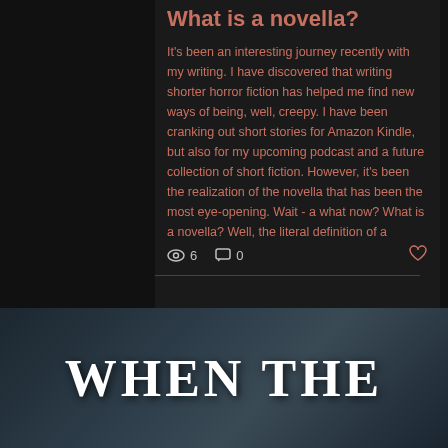What is a novella?
It's been an interesting journey recently with my writing. I have discovered that writing shorter horror fiction has helped me find new ways of being, well, creepy. I have been cranking out short stories for Amazon Kindle, but also for my upcoming podcast and a future collection of short fiction. However, it's been the realization of the novella that has been the most eye-opening. Wait - a what now? What is a novella? Well, the literal definition of a novella is a short novel
6   0
WHEN THE